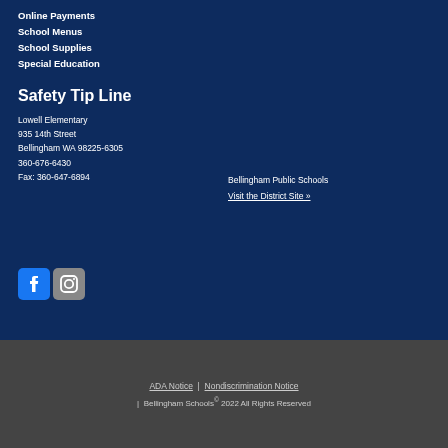Online Payments
School Menus
School Supplies
Special Education
Safety Tip Line
Lowell Elementary
935 14th Street
Bellingham WA 98225-6305
360-676-6430
Fax: 360-647-6894
Bellingham Public Schools
Visit the District Site »
[Figure (logo): Facebook and Instagram social media icons]
ADA Notice | Nondiscrimination Notice | Bellingham Schools© 2022 All Rights Reserved